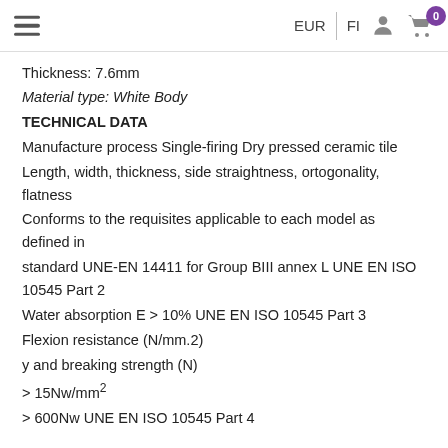EUR  FI  [user icon]  [cart icon] 0
Thickness: 7.6mm
Material type: White Body
TECHNICAL DATA
Manufacture process Single-firing Dry pressed ceramic tile
Length, width, thickness, side straightness, ortogonality, flatness
Conforms to the requisites applicable to each model as defined in
standard UNE-EN 14411 for Group BIII annex L UNE EN ISO 10545 Part 2
Water absorption E > 10% UNE EN ISO 10545 Part 3
Flexion resistance (N/mm.2)
y and breaking strength (N)
> 15Nw/mm²
> 600Nw UNE EN ISO 10545 Part 4